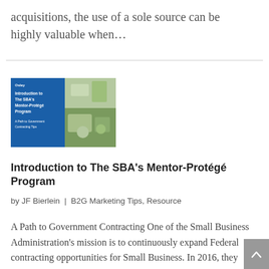acquisitions, the use of a sole source can be highly valuable when...
[Figure (illustration): Thumbnail image for article about SBA Mentor-Protégé Program — shows a blue panel with white text 'Introduction to The SBA's Mentor-Protégé Program' alongside a photograph of people working at a desk]
Introduction to The SBA's Mentor-Protégé Program
by JF Bierlein | B2G Marketing Tips, Resource
A Path to Government Contracting One of the Small Business Administration's mission is to continuously expand Federal contracting opportunities for Small Business. In 2016, they established the All